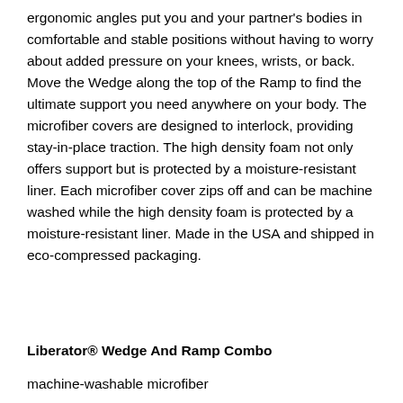ergonomic angles put you and your partner's bodies in comfortable and stable positions without having to worry about added pressure on your knees, wrists, or back. Move the Wedge along the top of the Ramp to find the ultimate support you need anywhere on your body. The microfiber covers are designed to interlock, providing stay-in-place traction. The high density foam not only offers support but is protected by a moisture-resistant liner. Each microfiber cover zips off and can be machine washed while the high density foam is protected by a moisture-resistant liner. Made in the USA and shipped in eco-compressed packaging.
Liberator® Wedge And Ramp Combo machine-washable microfiber